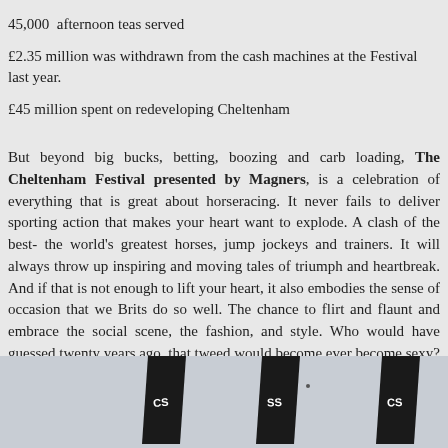45,000  afternoon teas served
£2.35 million was withdrawn from the cash machines at the Festival last year.
£45 million spent on redeveloping Cheltenham
But beyond big bucks, betting, boozing and carb loading, The Cheltenham Festival presented by Magners, is a celebration of everything that is great about horseracing. It never fails to deliver sporting action that makes your heart want to explode. A clash of the best- the world's greatest horses, jump jockeys and trainers. It will always throw up inspiring and moving tales of triumph and heartbreak. And if that is not enough to lift your heart, it also embodies the sense of occasion that we Brits do so well. The chance to flirt and flaunt and embrace the social scene, the fashion, and style. Who would have guessed twenty years ago, that tweed would become ever become sexy?
[Figure (photo): Photo of racing event banners/flags against a light sky background]